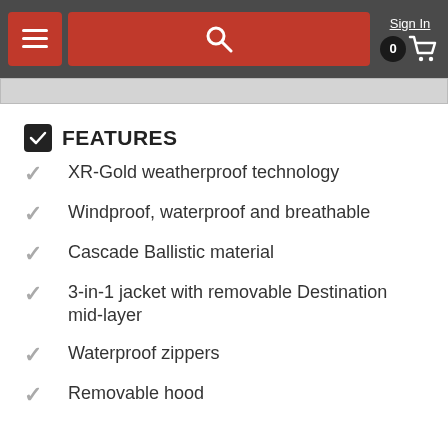[Figure (screenshot): Website navigation bar with hamburger menu button, red search bar, Sign In link, and cart icon showing 0 items]
FEATURES
XR-Gold weatherproof technology
Windproof, waterproof and breathable
Cascade Ballistic material
3-in-1 jacket with removable Destination mid-layer
Waterproof zippers
Removable hood